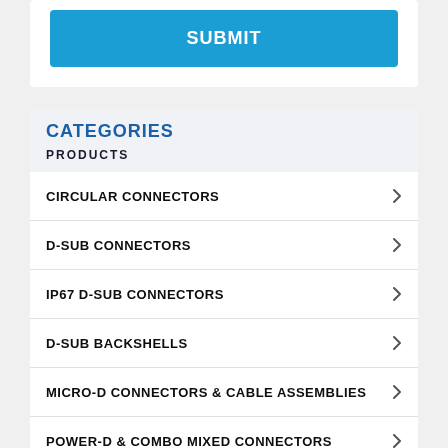[Figure (screenshot): Blue SUBMIT button on white card background]
CATEGORIES
PRODUCTS
CIRCULAR CONNECTORS
D-SUB CONNECTORS
IP67 D-SUB CONNECTORS
D-SUB BACKSHELLS
MICRO-D CONNECTORS & CABLE ASSEMBLIES
POWER-D & COMBO MIXED CONNECTORS